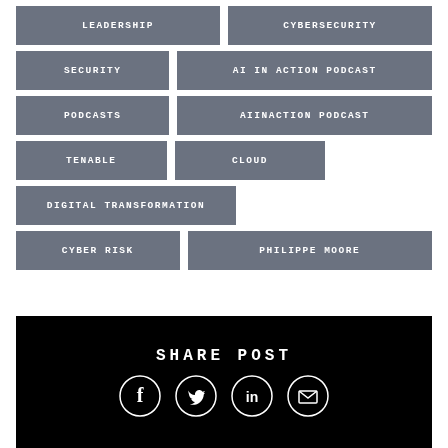LEADERSHIP
CYBERSECURITY
SECURITY
AI IN ACTION PODCAST
PODCASTS
AIINACTION PODCAST
TENABLE
CLOUD
DIGITAL TRANSFORMATION
CYBER RISK
PHILIPPE MOORE
SHARE POST
[Figure (infographic): Social share icons: Facebook, Twitter, LinkedIn, Email in circular outlines on black background]